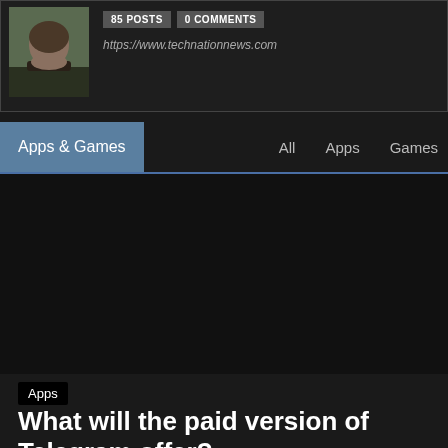[Figure (photo): Author profile photo showing a bearded man in dark clothing outdoors]
85 POSTS   0 COMMENTS
https://www.technationnews.com
Apps & Games
All   Apps   Games
Apps
What will the paid version of Telegram offer?